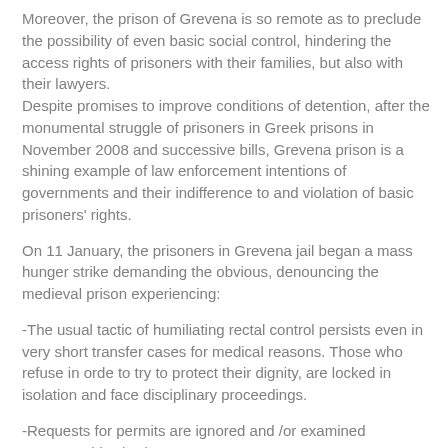Moreover, the prison of Grevena is so remote as to preclude the possibility of even basic social control, hindering the access rights of prisoners with their families, but also with their lawyers.
Despite promises to improve conditions of detention, after the monumental struggle of prisoners in Greek prisons in November 2008 and successive bills, Grevena prison is a shining example of law enforcement intentions of governments and their indifference to and violation of basic prisoners' rights.
On 11 January, the prisoners in Grevena jail began a mass hunger strike demanding the obvious, denouncing the medieval prison experiencing:
-The usual tactic of humiliating rectal control persists even in very short transfer cases for medical reasons. Those who refuse in orde to try to protect their dignity, are locked in isolation and face disciplinary proceedings.
-Requests for permits are ignored and /or examined unacceptably slowly.